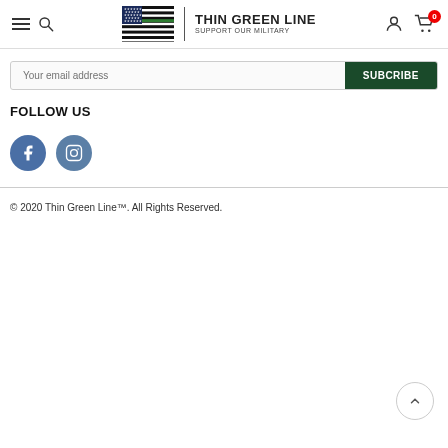[Figure (logo): Thin Green Line logo with American flag (thin green stripe) and text 'THIN GREEN LINE / SUPPORT OUR MILITARY']
[Figure (infographic): Email subscription bar with placeholder 'Your email address' and green SUBCRIBE button]
FOLLOW US
[Figure (infographic): Two social media circular icons: Facebook (blue circle with f) and Instagram (blue-gray circle with camera icon)]
© 2020 Thin Green Line™. All Rights Reserved.